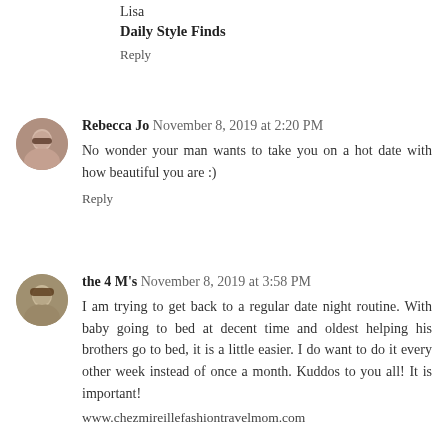Lisa
Daily Style Finds
Reply
Rebecca Jo  November 8, 2019 at 2:20 PM
No wonder your man wants to take you on a hot date with how beautiful you are :)
Reply
the 4 M's  November 8, 2019 at 3:58 PM
I am trying to get back to a regular date night routine. With baby going to bed at decent time and oldest helping his brothers go to bed, it is a little easier. I do want to do it every other week instead of once a month. Kuddos to you all! It is important!
www.chezmireillefashiontravelmom.com
Reply